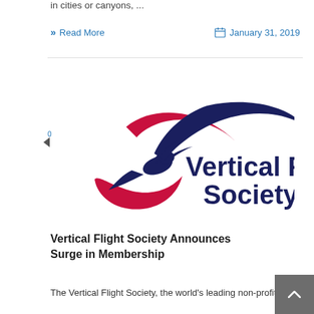in cities or canyons, ...
» Read More    🗓 January 31, 2019
[Figure (logo): Vertical Flight Society logo: dark navy hummingbird in flight with red swoosh curve, and text 'Vertical Flight Society' in dark navy to the right]
Vertical Flight Society Announces Surge in Membership
The Vertical Flight Society, the world's leading non-profit